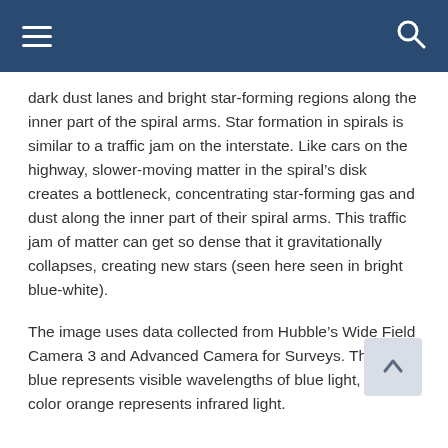Navigation bar with hamburger menu and search icon
dark dust lanes and bright star-forming regions along the inner part of the spiral arms. Star formation in spirals is similar to a traffic jam on the interstate. Like cars on the highway, slower-moving matter in the spiral’s disk creates a bottleneck, concentrating star-forming gas and dust along the inner part of their spiral arms. This traffic jam of matter can get so dense that it gravitationally collapses, creating new stars (seen here seen in bright blue-white).
The image uses data collected from Hubble’s Wide Field Camera 3 and Advanced Camera for Surveys. The color blue represents visible wavelengths of blue light, and the color orange represents infrared light.